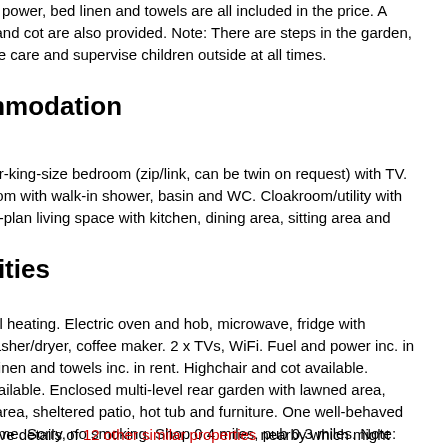el, power, bed linen and towels are all included in the price. A ir and cot are also provided. Note: There are steps in the garden, ake care and supervise children outside at all times.
mmodation
per-king-size bedroom (zip/link, can be twin on request) with TV. room with walk-in shower, basin and WC. Cloakroom/utility with en-plan living space with kitchen, dining area, sitting area and d
nities
tral heating. Electric oven and hob, microwave, fridge with washer/dryer, coffee maker. 2 x TVs, WiFi. Fuel and power inc. in d linen and towels inc. in rent. Highchair and cot available. available. Enclosed multi-level rear garden with lawned area, d area, sheltered patio, hot tub and furniture. One well-behaved come. Sorry, no smoking. Shop 0.4 miles, pub 0.3 miles. Note: re steps in the garden, please take care and supervise children at all times. Note: Check-in is from 3:30pm, check-out by 10am
have details of 12 other similar properties nearby which might